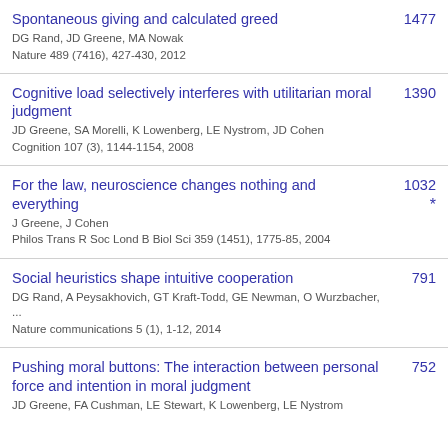Spontaneous giving and calculated greed
DG Rand, JD Greene, MA Nowak
Nature 489 (7416), 427-430, 2012
1477
Cognitive load selectively interferes with utilitarian moral judgment
JD Greene, SA Morelli, K Lowenberg, LE Nystrom, JD Cohen
Cognition 107 (3), 1144-1154, 2008
1390
For the law, neuroscience changes nothing and everything
J Greene, J Cohen
philos Trans R Soc Lond B Biol Sci 359 (1451), 1775-85, 2004
1032 *
Social heuristics shape intuitive cooperation
DG Rand, A Peysakhovich, GT Kraft-Todd, GE Newman, O Wurzbacher, ...
Nature communications 5 (1), 1-12, 2014
791
Pushing moral buttons: The interaction between personal force and intention in moral judgment
JD Greene, FA Cushman, LE Stewart, K Lowenberg, LE Nystrom
752